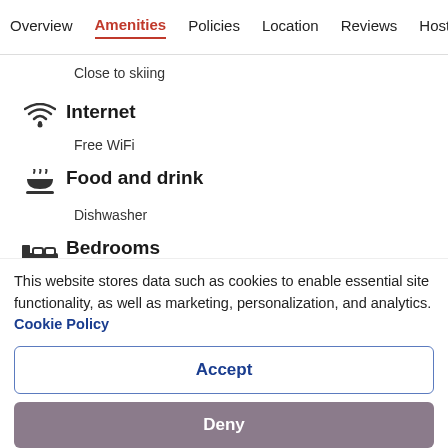Overview  Amenities  Policies  Location  Reviews  Host
Close to skiing
Internet
Free WiFi
Food and drink
Dishwasher
Bedrooms
2 bedrooms
This website stores data such as cookies to enable essential site functionality, as well as marketing, personalization, and analytics. Cookie Policy
Accept
Deny